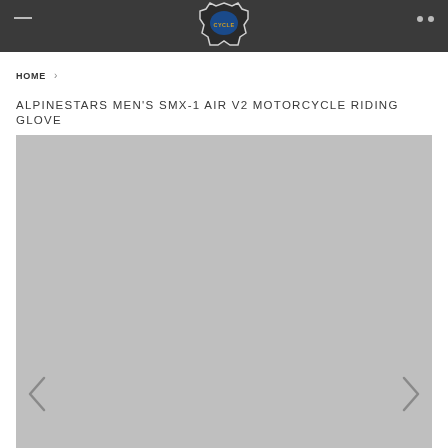Cycle logo header bar
HOME ›
ALPINESTARS MEN'S SMX-1 AIR V2 MOTORCYCLE RIDING GLOVE
[Figure (photo): Product image placeholder (gray rectangle) with left and right navigation arrows]